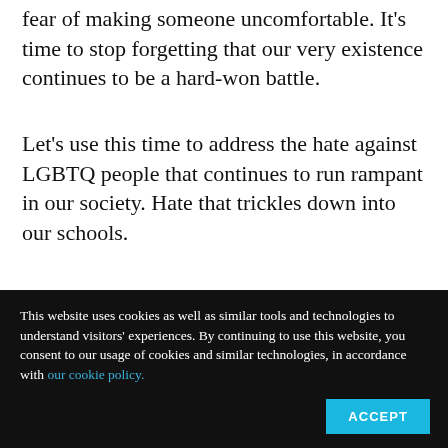fear of making someone uncomfortable. It's time to stop forgetting that our very existence continues to be a hard-won battle.
Let's use this time to address the hate against LGBTQ people that continues to run rampant in our society. Hate that trickles down into our schools.
This website uses cookies as well as similar tools and technologies to understand visitors' experiences. By continuing to use this website, you consent to our usage of cookies and similar technologies, in accordance with our cookie policy.